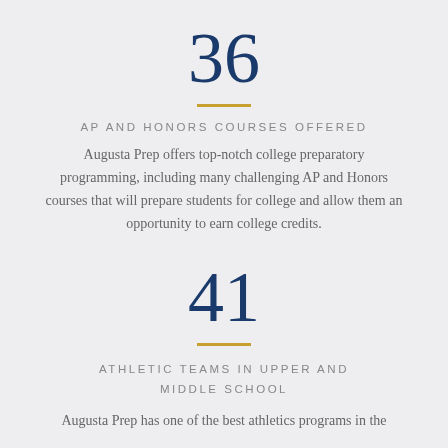36
AP AND HONORS COURSES OFFERED
Augusta Prep offers top-notch college preparatory programming, including many challenging AP and Honors courses that will prepare students for college and allow them an opportunity to earn college credits.
41
ATHLETIC TEAMS IN UPPER AND MIDDLE SCHOOL
Augusta Prep has one of the best athletics programs in the